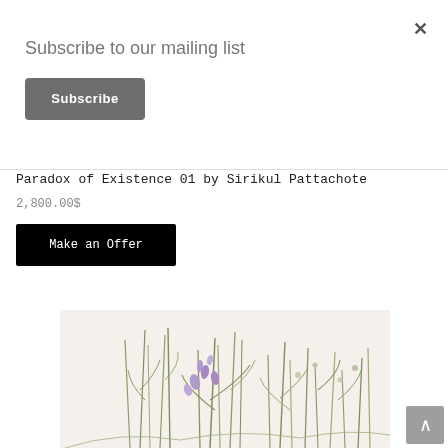×
Subscribe to our mailing list
Subscribe
Paradox of Existence 01 by Sirikul Pattachote
2,800.00$
Make an Offer
[Figure (illustration): Botanical painting of delicate wildflowers and green stems on a cream/off-white background, showing various plant species including purple orchid-like flowers and tall grasses.]
^